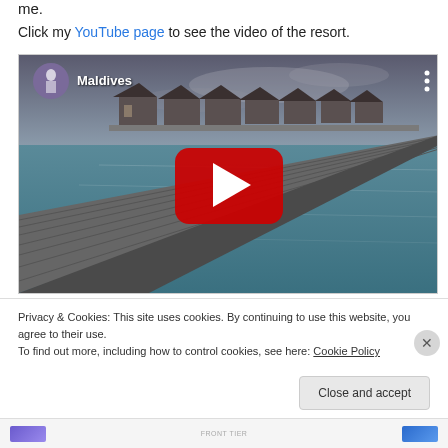me.
Click my YouTube page to see the video of the resort.
[Figure (screenshot): YouTube video embed showing a Maldives resort with overwater bungalows and a wooden dock, with a red play button in the center. Channel avatar and 'Maldives' title visible at top left.]
Privacy & Cookies: This site uses cookies. By continuing to use this website, you agree to their use.
To find out more, including how to control cookies, see here: Cookie Policy
Close and accept